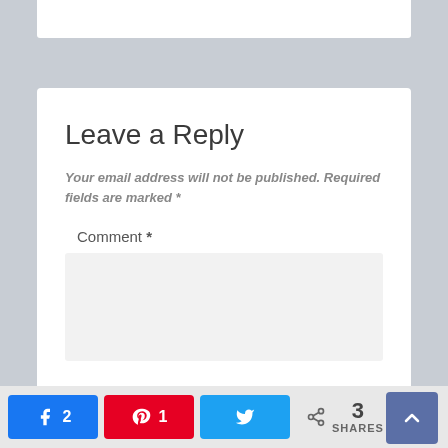Leave a Reply
Your email address will not be published. Required fields are marked *
Comment *
[Figure (screenshot): Social share bar with Facebook (2), Pinterest (1), Twitter share buttons, total 3 SHARES, and a scroll-to-top button]